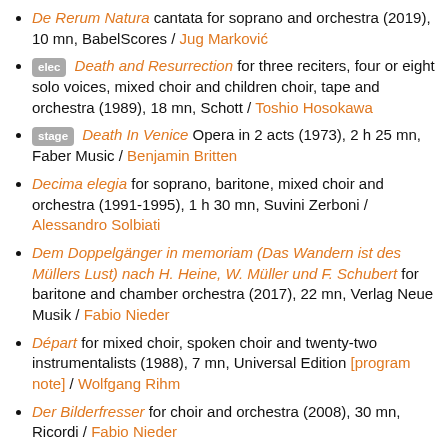De Rerum Natura cantata for soprano and orchestra (2019), 10 mn, BabelScores / Jug Marković
[elec] Death and Resurrection for three reciters, four or eight solo voices, mixed choir and children choir, tape and orchestra (1989), 18 mn, Schott / Toshio Hosokawa
[stage] Death In Venice Opera in 2 acts (1973), 2 h 25 mn, Faber Music / Benjamin Britten
Decima elegia for soprano, baritone, mixed choir and orchestra (1991-1995), 1 h 30 mn, Suvini Zerboni / Alessandro Solbiati
Dem Doppelgänger in memoriam (Das Wandern ist des Müllers Lust) nach H. Heine, W. Müller und F. Schubert for baritone and chamber orchestra (2017), 22 mn, Verlag Neue Musik / Fabio Nieder
Départ for mixed choir, spoken choir and twenty-two instrumentalists (1988), 7 mn, Universal Edition [program note] / Wolfgang Rihm
Der Bilderfresser for choir and orchestra (2008), 30 mn, Ricordi / Fabio Nieder
[stage] Der Diktator tragic opera in one act (1926), 26 mn, Universal Edition / Ernst Krenek
[stage] der einfluss des menschen auf den mond musical theatre for four solo voices and orchestra (2010), 1 h 17 mn...